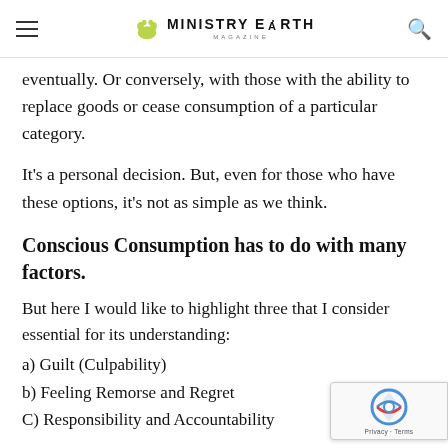MINISTRY EARTH MAGAZINE
eventually. Or conversely, with those with the ability to replace goods or cease consumption of a particular category.
It’s a personal decision. But, even for those who have these options, it’s not as simple as we think.
Conscious Consumption has to do with many factors.
But here I would like to highlight three that I consider essential for its understanding:
a) Guilt (Culpability)
b) Feeling Remorse and Regret
C) Responsibility and Accountability